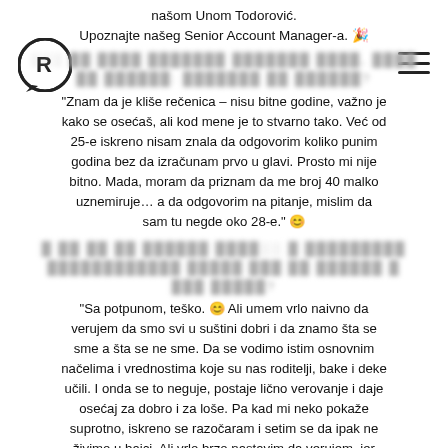našom Unom Todorović. Upoznajte našeg Senior Account Manager-a. 🎉
[blurred question about age]
"Znam da je kliše rečenica – nisu bitne godine, važno je kako se osećaš, ali kod mene je to stvarno tako. Već od 25-e iskreno nisam znala da odgovorim koliko punim godina bez da izračunam prvo u glavi. Prosto mi nije bitno. Mada, moram da priznam da me broj 40 malko uznemiruje… a da odgovorim na pitanje, mislim da sam tu negde oko 28-e." 😊
[blurred question about people and values]
"Sa potpunom, teško. 😊 Ali umem vrlo naivno da verujem da smo svi u suštini dobri i da znamo šta se sme a šta se ne sme. Da se vodimo istim osnovnim načelima i vrednostima koje su nas roditelji, bake i deke učili. I onda se to neguje, postaje lično verovanje i daje osećaj za dobro i za loše. Pa kad mi neko pokaže suprotno, iskreno se razočaram i setim se da ipak ne živimo u bajci. Ali vrlo brzo nastavim da verujem, jer tako je lepše, zar ne?"
[blurred question about žičanim]
"Nekom umetnošću, sigurno! Neretko pričam kako sam uvek patila zbog nedostatka talenta za crtanje, pa sam to uspešno nadomestila bliskim radom sa